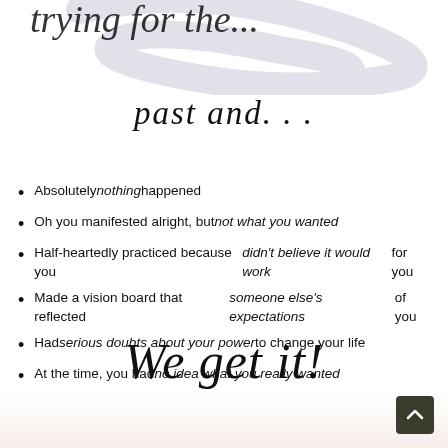[Figure (illustration): Decorative handwritten swirl/script at the top of the page, partially visible, light lavender/gray color]
past and. . .
Absolutely nothing happened
Oh you manifested alright, but not what you wanted
Half-heartedly practiced because you didn't believe it would work for you
Made a vision board that reflected someone else's expectations of you
Had serious doubts about your power to change your life
At the time, you had no idea what you really wanted
We get it!